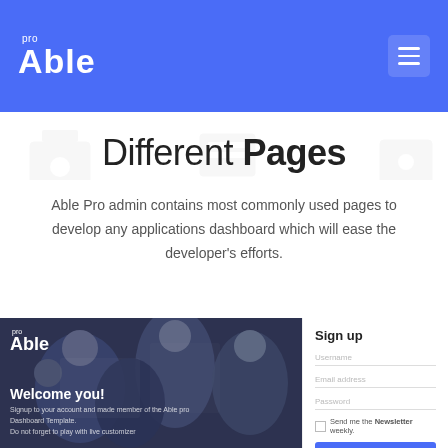Able pro
Different Pages
Able Pro admin contains most commonly used pages to develop any applications dashboard which will ease the developer's efforts.
[Figure (screenshot): Screenshot of Able Pro login page with team photo background showing Welcome you! heading and signup form]
Sign up
Username
Email address
Password
Send me the Newsletter weekly.
Sign up
OR
[Figure (illustration): Social login buttons: Facebook, Google+, Twitter]